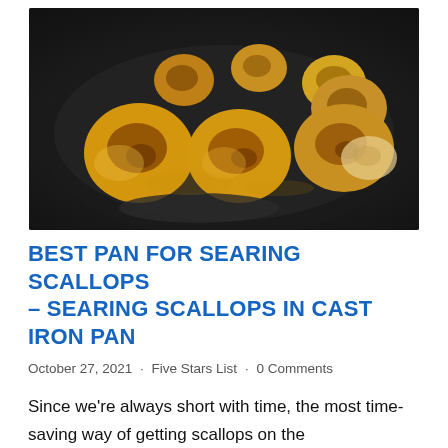[Figure (photo): Seared scallops in a dark cast iron pan, golden brown with caramelized sear marks, multiple scallops piled together on a dark background]
BEST PAN FOR SEARING SCALLOPS – SEARING SCALLOPS IN CAST IRON PAN
October 27, 2021  · Five Stars List  · 0 Comments
Since we're always short with time, the most time-saving way of getting scallops on the